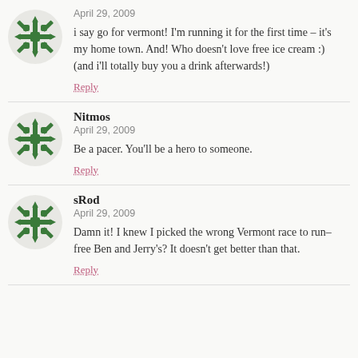[Figure (illustration): Green decorative avatar icon with snowflake/cross pattern]
April 29, 2009
i say go for vermont! I'm running it for the first time – it's my home town. And! Who doesn't love free ice cream :) (and i'll totally buy you a drink afterwards!)
Reply
[Figure (illustration): Green decorative avatar icon with snowflake/cross pattern]
Nitmos
April 29, 2009
Be a pacer. You'll be a hero to someone.
Reply
[Figure (illustration): Green decorative avatar icon with snowflake/cross pattern]
sRod
April 29, 2009
Damn it! I knew I picked the wrong Vermont race to run–free Ben and Jerry's? It doesn't get better than that.
Reply